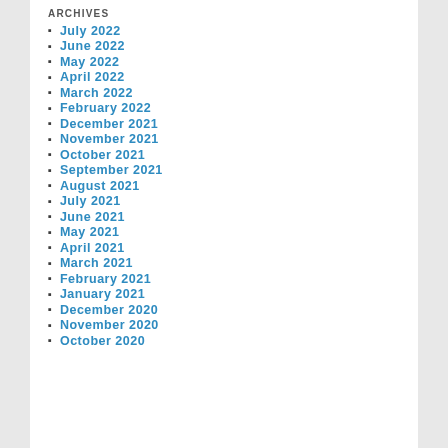ARCHIVES
July 2022
June 2022
May 2022
April 2022
March 2022
February 2022
December 2021
November 2021
October 2021
September 2021
August 2021
July 2021
June 2021
May 2021
April 2021
March 2021
February 2021
January 2021
December 2020
November 2020
October 2020